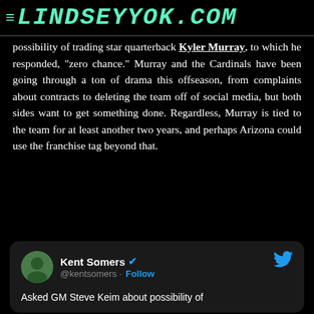LINDSEYYOK.COM
possibility of trading star quarterback Kyler Murray, to which he responded, "zero chance." Murray and the Cardinals have been going through a ton of drama this offseason, from complaints about contracts to deleting the team off of social media, but both sides want to get something done. Regardless, Murray is tied to the team for at least another two years, and perhaps Arizona could use the franchise tag beyond that.
[Figure (screenshot): Tweet card from Kent Somers (@kentsomers) with Twitter bird logo. Text begins: Asked GM Steve Keim about possibility of]
Asked GM Steve Keim about possibility of